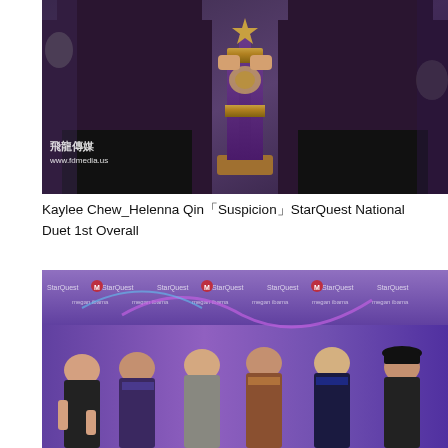[Figure (photo): Two people in purple hoodies holding a large trophy with purple columns and a star on top. Background shows a collage of black and white photos. Watermark: 飛龍傳媒 www.fdmedia.us]
Kaylee Chew_Helenna Qin「Suspicion」StarQuest National Duet 1st Overall
[Figure (photo): Group of six young women posing in front of a StarQuest branded step-and-repeat banner with logos for StarQuest, Megan Ibama, The Movement. The women are wearing dance costumes.]